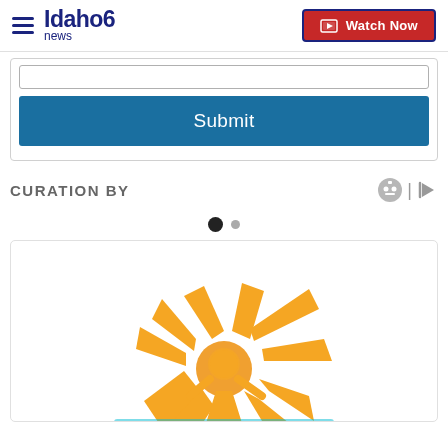Idaho News 6 | Watch Now
[Figure (screenshot): Submit form area with input field and blue Submit button]
CURATION BY
[Figure (other): Carousel pagination dots: one large filled dot and one small dot]
[Figure (logo): Sunshine/sunburst logo with orange figure and yellow rays, partial text visible at bottom]